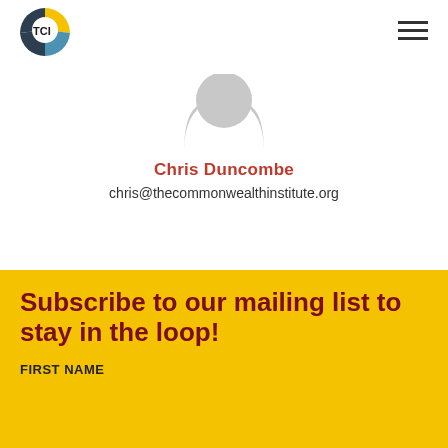[Figure (logo): TCI logo - circular icon with gold, teal, and dark blue segments with 'TCI' text in white]
[Figure (other): Hamburger menu icon - three horizontal dark lines in top right corner]
[Figure (illustration): Grey silhouette avatar placeholder showing two rounded triangular ear shapes and a partial circular head]
Chris Duncombe
chris@thecommonwealthinstitute.org
Subscribe to our mailing list to stay in the loop!
FIRST NAME